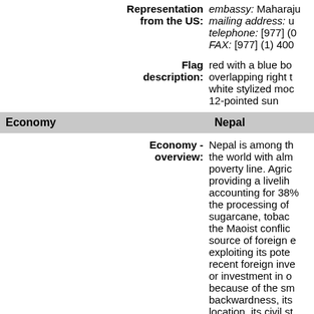Representation from the US: embassy: Maharaju; mailing address: u; telephone: [977] (0; FAX: [977] (1) 400
Flag description: red with a blue bo overlapping right t white stylized moc 12-pointed sun
| Economy | Nepal |
| --- | --- |
Economy - overview: Nepal is among the world with alm poverty line. Agric providing a livelih accounting for 38% the processing of sugarcane, tobac the Maoist conflic source of foreign e exploiting its pote recent foreign inve or investment in o because of the sm backwardness, its location, its civil st